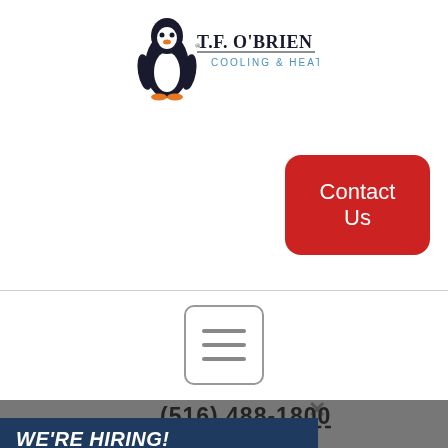[Figure (logo): T.F. O'Brien Cooling & Heating logo with penguin mascot]
Contact Us
[Figure (other): Hamburger menu icon - three horizontal lines in a rounded rectangle]
(516) 488-1800
WE'RE HIRING!
T.F. O'Brien offers exceptional benefits and competitive pay.
CURRENT OPENINGS
rved | Contact Us |